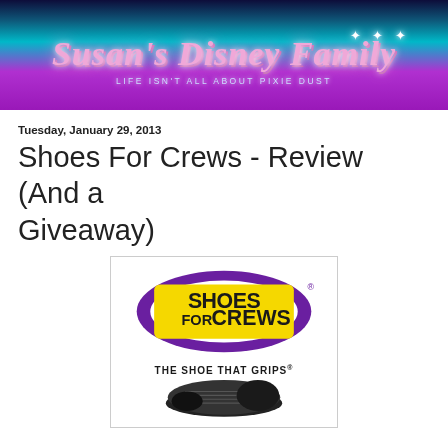[Figure (logo): Susan's Disney Family blog banner with teal, purple and dark blue gradient background, cursive pink text 'Susan's Disney Family' and subtitle 'Life isn't all about Pixie Dust' with sparkle stars]
Tuesday, January 29, 2013
Shoes For Crews - Review (And a Giveaway)
[Figure (logo): Shoes For Crews logo: purple oval swoosh around yellow bold text 'SHOES FOR CREWS' with registered trademark symbol, tagline 'THE SHOE THAT GRIPS®' below, and a black slip-resistant shoe shown from the sole side]